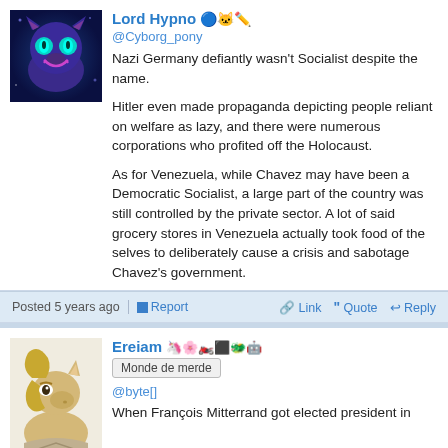[Figure (illustration): Avatar of Lord Hypno - animated purple feline character with teal glowing eyes and a grin, on dark blue background]
Lord Hypno @Cyborg_pony
Nazi Germany defiantly wasn't Socialist despite the name.

Hitler even made propaganda depicting people reliant on welfare as lazy, and there were numerous corporations who profited off the Holocaust.

As for Venezuela, while Chavez may have been a Democratic Socialist, a large part of the country was still controlled by the private sector. A lot of said grocery stores in Venezuela actually took food of the selves to deliberately cause a crisis and sabotage Chavez's government.
Posted 5 years ago  Report  Link  Quote  Reply
[Figure (illustration): Avatar of Ereiam - animated beige/tan pony character looking stern]
Ereiam
Monde de merde
@byte[]
When François Mitterrand got elected president in